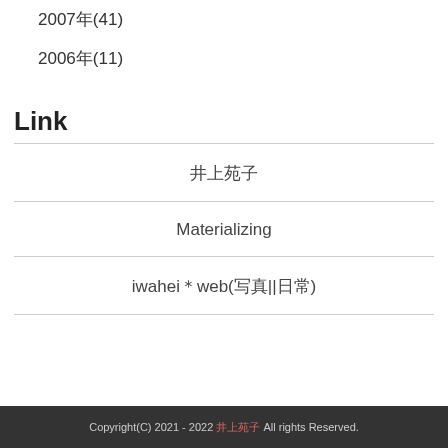2007年(41)
2006年(11)
Link
井上苑子
Materializing
iwahei＊web(写真||日常)
Copyright(C) 2021 - 2022 井上苑子 All rights Reserved.